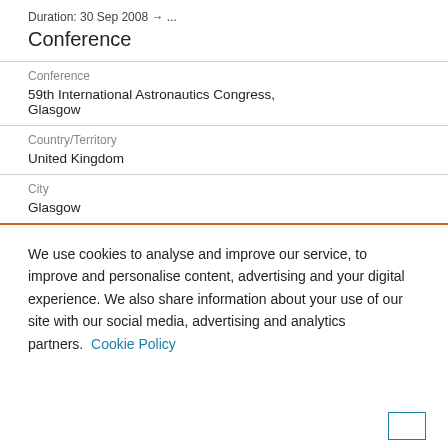Duration: 30 Sep 2008 → ...
Conference
Conference
59th International Astronautics Congress, Glasgow
Country/Territory
United Kingdom
City
Glasgow
We use cookies to analyse and improve our service, to improve and personalise content, advertising and your digital experience. We also share information about your use of our site with our social media, advertising and analytics partners.  Cookie Policy